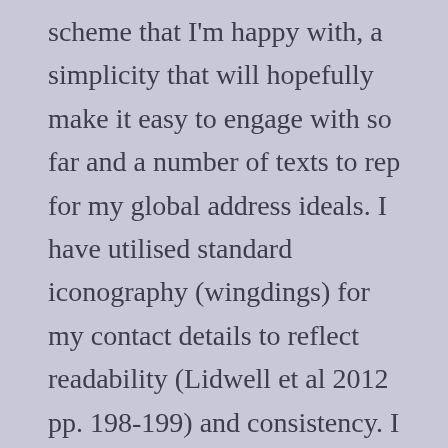scheme that I'm happy with, a simplicity that will hopefully make it easy to engage with so far and a number of texts to rep for my global address ideals. I have utilised standard iconography (wingdings) for my contact details to reflect readability (Lidwell et al 2012 pp. 198-199) and consistency. I have not decided on the final images or iconography yet but aim for consistency (Meta Krause) in